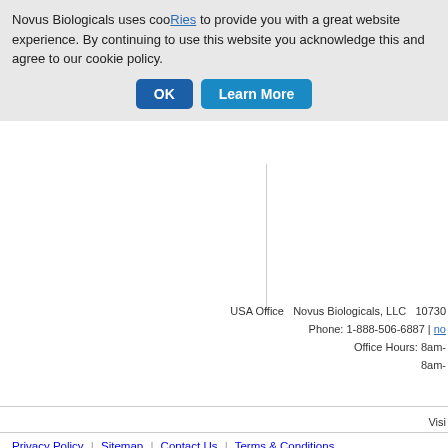Novus Biologicals uses cookies to provide you with a great website experience. By continuing to use this website you acknowledge this and agree to our cookie policy.
OK   Learn More
USA Office   Novus Biologicals, LLC   10730
Phone: 1-888-506-6887 | no
Office Hours: 8am-
8am-
Visi
Privacy Policy | Sitemap | Contact Us | Terms & Conditions